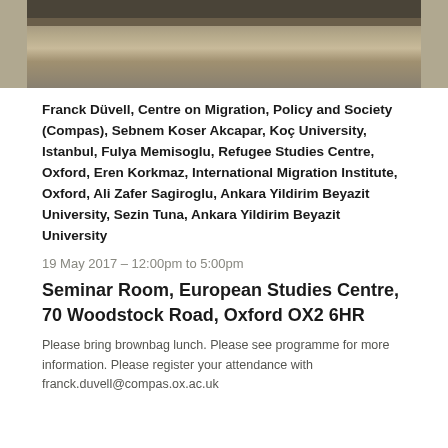[Figure (photo): Outdoor landscape photo strip showing grassy terrain with animals in the background, partially cropped at top]
Franck Düvell, Centre on Migration, Policy and Society (Compas), Sebnem Koser Akcapar, Koç University, Istanbul, Fulya Memisoglu, Refugee Studies Centre, Oxford, Eren Korkmaz, International Migration Institute, Oxford, Ali Zafer Sagiroglu, Ankara Yildirim Beyazit University, Sezin Tuna, Ankara Yildirim Beyazit University
19 May 2017 – 12:00pm to 5:00pm
Seminar Room, European Studies Centre, 70 Woodstock Road, Oxford OX2 6HR
Please bring brownbag lunch. Please see programme for more information. Please register your attendance with franck.duvell@compas.ox.ac.uk